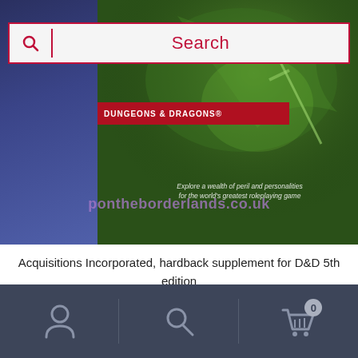[Figure (photo): Dungeons & Dragons product book cover showing fantasy art with dragon and characters. Red banner reads 'DUNGEONS & DRAGONS'. Subtitle text: 'Explore a wealth of peril and personalities for the world's greatest roleplaying game'. Watermark URL: pontheborderlands.co.uk visible across bottom.]
Search
Acquisitions Incorporated, hardback supplement for D&D 5th edition
£38.99
1 in stock
Bottom navigation bar with account icon, search icon, and cart icon with badge 0